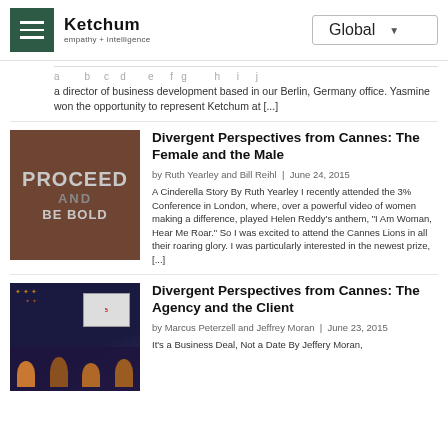Ketchum — empathy + intelligence | Global
a director of business development based in our Berlin, Germany office. Yasmine won the opportunity to represent Ketchum at [...]
[Figure (photo): Dark brown wooden background with white bold text reading PROCEED AND BE BOLD]
Divergent Perspectives from Cannes: The Female and the Male
by Ruth Yearley and Bill Reihl | June 24, 2015
A Cinderella Story By Ruth Yearley I recently attended the 3% Conference in London, where, over a powerful video of women making a difference, played Helen Reddy's anthem, "I Am Woman, Hear Me Roar." So I was excited to attend the Cannes Lions in all their roaring glory. I was particularly interested in the newest prize, [...]
[Figure (photo): Panel discussion scene with speakers on stage, dark background with colorful confetti-like decorations]
Divergent Perspectives from Cannes: The Agency and the Client
by Marcus Peterzell and Jeffrey Moran | June 23, 2015
It's a Business Deal, Not a Date By Jeffery Moran,